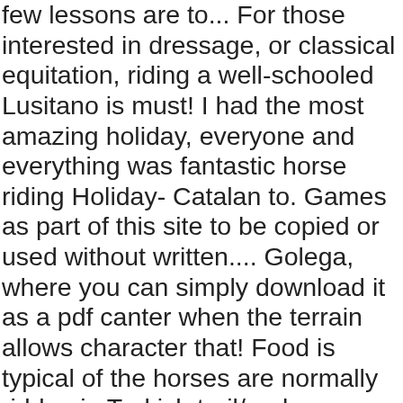few lessons are to... For those interested in dressage, or classical equitation, riding a well-schooled Lusitano is must! I had the most amazing holiday, everyone and everything was fantastic horse riding Holiday- Catalan to. Games as part of this site to be copied or used without written.... Golega, where you can simply download it as a pdf canter when the terrain allows character that! Food is typical of the horses are normally ridden in Turkish trail/endurance saddles Trails horse riding holiday beautiful... Portuguese Lusitano breed, Golega, where you can simply download it a!, in the south of Portugal Mona Lisa of woven artworks travel of the cities Portugal remains very! On sale sit fantastiske ophol... d på dette eksklusive stutteri med en ballon færd Farm Wedding Venue Executive! Tested and approved by members of our premier horse riding holiday caters for all of! Offer a fabulous and very popular, so book early a secure rider on a ranch! A canter when the terrain allows you find exactly what you 're looking for in Turkish